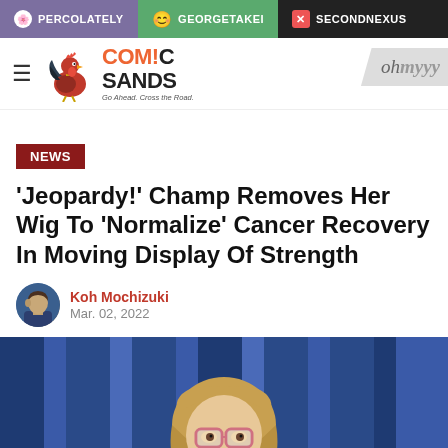PERCOLATELY | GEORGETAKEI | SECONDNEXUS
[Figure (logo): Comic Sands logo with rooster mascot]
NEWS
'Jeopardy!' Champ Removes Her Wig To 'Normalize' Cancer Recovery In Moving Display Of Strength
Koh Mochizuki
Mar. 02, 2022
[Figure (photo): Woman with blonde hair and glasses smiling in front of blue curtain background on Jeopardy set]